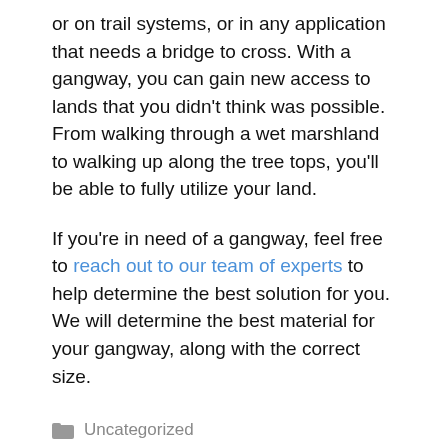or on trail systems, or in any application that needs a bridge to cross. With a gangway, you can gain new access to lands that you didn't think was possible. From walking through a wet marshland to walking up along the tree tops, you'll be able to fully utilize your land.
If you're in need of a gangway, feel free to reach out to our team of experts to help determine the best solution for you. We will determine the best material for your gangway, along with the correct size.
Uncategorized
Leave a comment